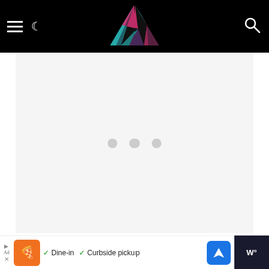[Figure (screenshot): Website header with black background, hamburger menu icon, moon/dark-mode icon on left, colorful geometric logo (V/A shape in teal, pink, dark) in center, search icon on right]
[Figure (other): Ad placeholder area with light gray background and three gray loading dots in the center]
Hollowslayer Greatsword
[Figure (other): Bottom ad bar: orange restaurant logo, checkmarks for Dine-in and Curbside pickup, blue navigation arrow icon, dark right panel with weather widget showing W degrees symbol]